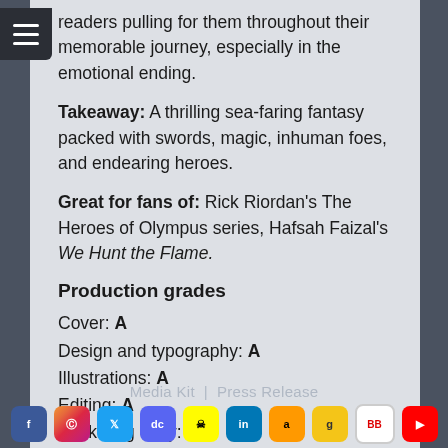readers pulling for them throughout their memorable journey, especially in the emotional ending.
Takeaway: A thrilling sea-faring fantasy packed with swords, magic, inhuman foes, and endearing heroes.
Great for fans of: Rick Riordan’s The Heroes of Olympus series, Hafsah Faizal’s We Hunt the Flame.
Production grades
Cover: A
Design and typography: A
Illustrations: A
Editing: A
Marketing copy: A
Media Kit | Press Release